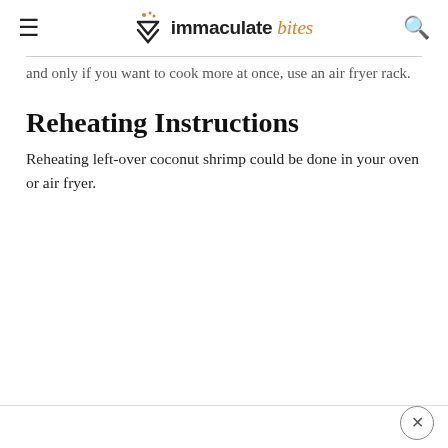immaculate bites
…and only if you want to cook more at once, use an air fryer rack.
Reheating Instructions
Reheating left-over coconut shrimp could be done in your oven or air fryer.